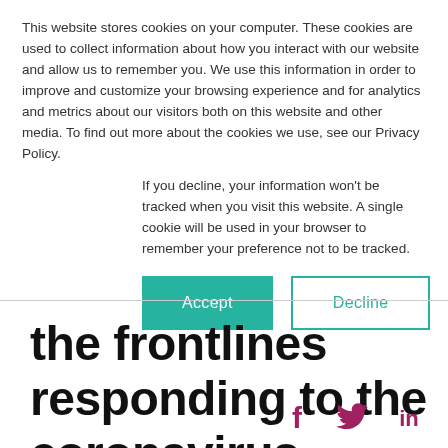This website stores cookies on your computer. These cookies are used to collect information about how you interact with our website and allow us to remember you. We use this information in order to improve and customize your browsing experience and for analytics and metrics about our visitors both on this website and other media. To find out more about the cookies we use, see our Privacy Policy.
If you decline, your information won't be tracked when you visit this website. A single cookie will be used in your browser to remember your preference not to be tracked.
Accept | Decline
the frontlines responding to the coronavirus pandemic.
[Figure (other): Social media icons: Facebook (f), Twitter (bird), LinkedIn (in) in pink/maroon color]